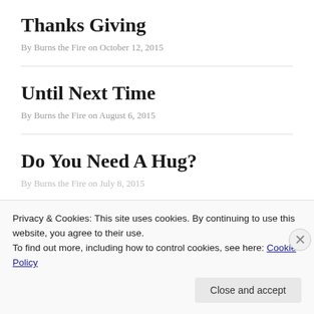Thanks Giving
By Burns the Fire on October 12, 2015
Until Next Time
By Burns the Fire on August 6, 2015
Do You Need A Hug?
By Burns the Fire on July 8, 2015
Privacy & Cookies: This site uses cookies. By continuing to use this website, you agree to their use.
To find out more, including how to control cookies, see here: Cookie Policy
Close and accept